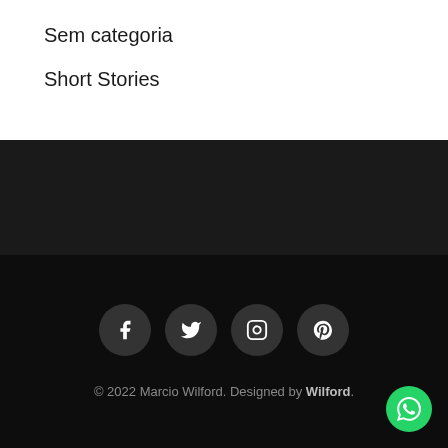Sem categoria
Short Stories
[Figure (other): Dark background section (mid dark area)]
[Figure (other): Footer with social media icons: Facebook, Twitter, Instagram, Pinterest, and a WhatsApp floating button]
© 2022 Marcio Wilford. Designed by Wilford.